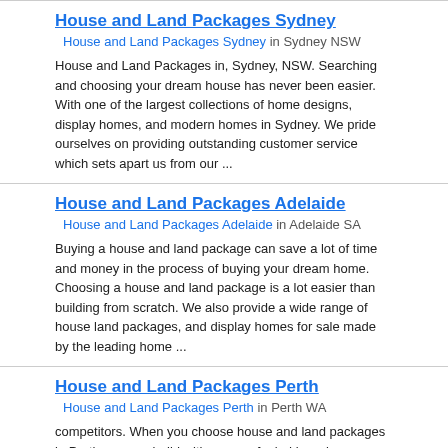House and Land Packages Sydney
House and Land Packages Sydney in Sydney NSW
House and Land Packages in, Sydney, NSW. Searching and choosing your dream house has never been easier. With one of the largest collections of home designs, display homes, and modern homes in Sydney. We pride ourselves on providing outstanding customer service which sets apart us from our ...
House and Land Packages Adelaide
House and Land Packages Adelaide in Adelaide SA
Buying a house and land package can save a lot of time and money in the process of buying your dream home. Choosing a house and land package is a lot easier than building from scratch. We also provide a wide range of house land packages, and display homes for sale made by the leading home ...
House and Land Packages Perth
House and Land Packages Perth in Perth WA
competitors. When you choose house and land packages in Perth you can build with peace of mind knowing you have chosen a leading builder. We specialize in house and land packages and new home design. Offering tremendous value for money having over 100 house and land packages to select from throughout ...